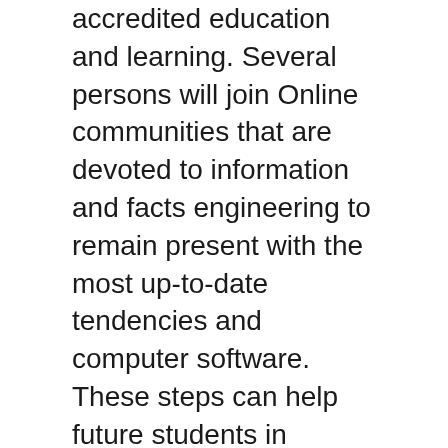accredited education and learning. Several persons will join Online communities that are devoted to information and facts engineering to remain present with the most up-to-date tendencies and computer software. These steps can help future students in selecting a profession route as well as assistance them with their career.
The most well-liked profession paths are specialized expert, Pc programmer, and information engineering instructor. Technological consultants are employed by organizations to help them install new software package, update Pc units, and consult with with the business to find out what software is true for his or her requires. Additionally they continue to help you the